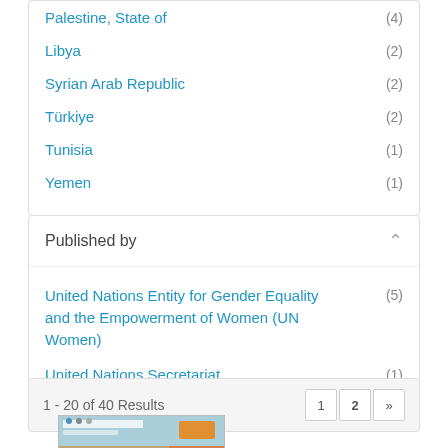Palestine, State of (4)
Libya (2)
Syrian Arab Republic (2)
Türkiye (2)
Tunisia (1)
Yemen (1)
Published by
United Nations Entity for Gender Equality and the Empowerment of Women (UN Women) (5)
United Nations Secretariat (1)
1 - 20 of 40 Results
[Figure (screenshot): Thumbnail image of a document, partially visible at bottom of page]